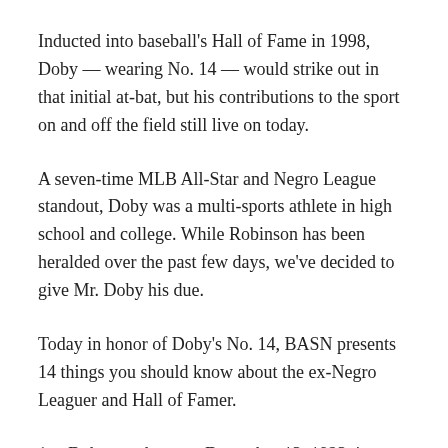Inducted into baseball's Hall of Fame in 1998, Doby — wearing No. 14 — would strike out in that initial at-bat, but his contributions to the sport on and off the field still live on today.
A seven-time MLB All-Star and Negro League standout, Doby was a multi-sports athlete in high school and college. While Robinson has been heralded over the past few days, we've decided to give Mr. Doby his due.
Today in honor of Doby's No. 14, BASN presents 14 things you should know about the ex-Negro Leaguer and Hall of Famer.
Doby was born on December 13, 1923, in